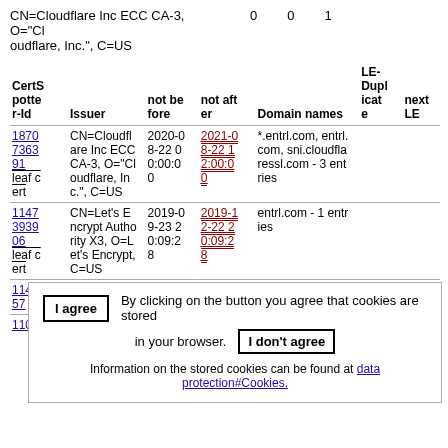CN=Cloudflare Inc ECC CA-3, O="Cloudflare, Inc.", C=US   0   0   1
| CertSpotter-Id | Issuer | not before | not after | Domain names | LE-Duplicate | next LE |
| --- | --- | --- | --- | --- | --- | --- |
| 1870 7363 91 leaf cert | CN=Cloudfl are Inc ECC CA-3, O="Cloudflare, Inc.", C=US | 2020-0 8-22 0 0:00:0 0 | 2021-0 8-22 1 2:00:0 0 | *.entrl.com, entrl.com, sni.cloudfla ressl.com - 3 ent ries |  |  |
| 1147 3939 06 leaf cert | CN=Let's E ncrypt Autho rity X3, O=L et's Encrypt, C=US | 2019-0 9-23 2 0:09:2 8 | 2019-1 2-22 2 0:09:2 8 | entrl.com - 1 entr ies |  |  |
| 1145 57 05 leaf cert | CN=CloudFl | 2019-0 | 2020-0 | *.entrl.com, entrl. |  |  |
| 1107 | CN=Let's E | 2019-0 | 2019-1 | entrl.com - 1 entr |  |  |
I agree  By clicking on the button you agree that cookies are stored in your browser.  I don't agree  Information on the stored cookies can be found at data protection#Cookies.